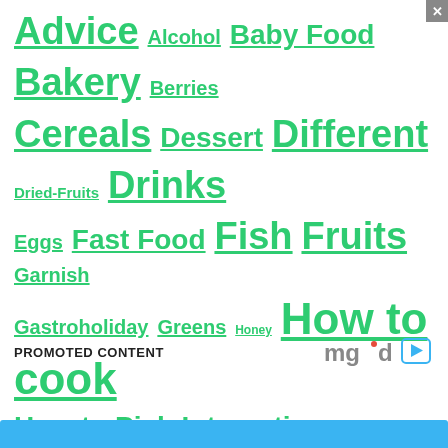[Figure (other): Tag cloud of food and cooking category links in green, varying font sizes indicating popularity/frequency]
PROMOTED CONTENT
[Figure (logo): mgid logo with play button icon]